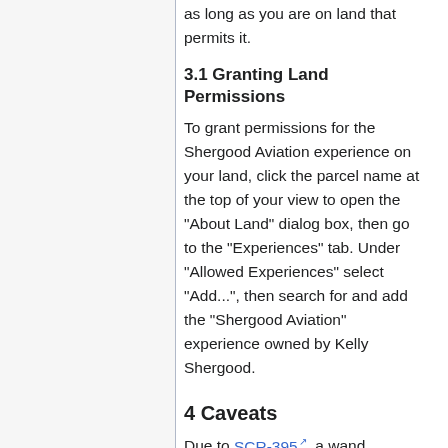as long as you are on land that permits it.
3.1 Granting Land Permissions
To grant permissions for the Shergood Aviation experience on your land, click the parcel name at the top of your view to open the "About Land" dialog box, then go to the "Experiences" tab. Under "Allowed Experiences" select "Add...", then search for and add the "Shergood Aviation" experience owned by Kelly Shergood.
4 Caveats
Due to SCR-395, a wand attached in an area that requires you to be in a group to rez may not be able to rez the "deicer bullets" needed to function. The reason is that objects attached by script